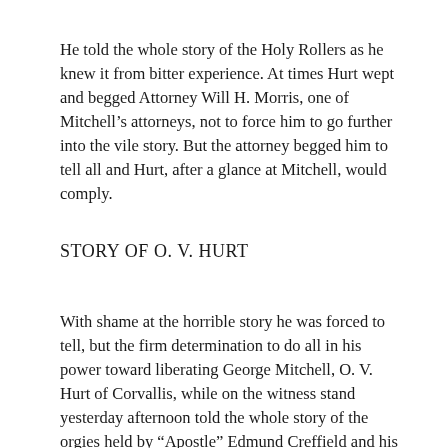He told the whole story of the Holy Rollers as he knew it from bitter experience. At times Hurt wept and begged Attorney Will H. Morris, one of Mitchell's attorneys, not to force him to go further into the vile story. But the attorney begged him to tell all and Hurt, after a glance at Mitchell, would comply.
STORY OF O. V. HURT
With shame at the horrible story he was forced to tell, but the firm determination to do all in his power toward liberating George Mitchell, O. V. Hurt of Corvallis, while on the witness stand yesterday afternoon told the whole story of the orgies held by “Apostle” Edmund Creffield and his deluded followers. In order to get the testimony of Mr. Hurt before the jury it was introduced as a statement made by him to the defendant before the